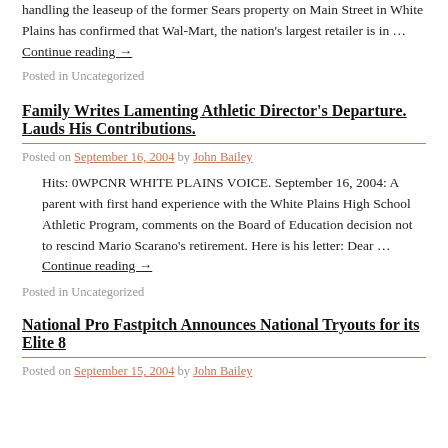handling the leaseup of the former Sears property on Main Street in White Plains has confirmed that Wal-Mart, the nation's largest retailer is in …
Continue reading →
Posted in Uncategorized
Family Writes Lamenting Athletic Director's Departure. Lauds His Contributions.
Posted on September 16, 2004 by John Bailey
Hits: 0WPCNR WHITE PLAINS VOICE. September 16, 2004: A parent with first hand experience with the White Plains High School Athletic Program, comments on the Board of Education decision not to rescind Mario Scarano's retirement. Here is his letter: Dear …
Continue reading →
Posted in Uncategorized
National Pro Fastpitch Announces National Tryouts for its Elite 8
Posted on September 15, 2004 by John Bailey